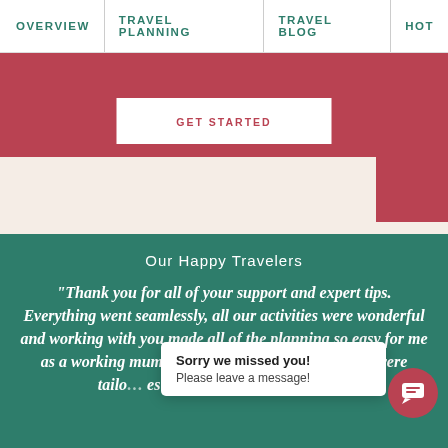OVERVIEW | TRAVEL PLANNING | TRAVEL BLOG | HOT
[Figure (screenshot): Navigation bar with teal text links: OVERVIEW, TRAVEL PLANNING, TRAVEL BLOG, HOT, separated by vertical dividers]
[Figure (screenshot): Hero/CTA area with dark red background and a white button labeled GET STARTED]
Our Happy Travelers
"Thank you for all of your support and expert tips. Everything went seamlessly, all our activities were wonderful and working with you made all of the planning so easy for me as a working mum. All the activities Melissa chose were tailo... es and also had a grea... g you
[Figure (screenshot): Chat popup overlay: 'Sorry we missed you! Please leave a message!' with a dark red circular chat icon]